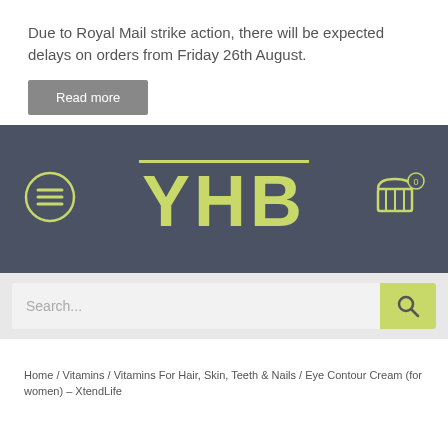Due to Royal Mail strike action, there will be expected delays on orders from Friday 26th August.
Read more
[Figure (logo): YHB logo on dark slate background with hamburger menu icon on left and shopping cart icon with '0' badge on right, and a yellow-green horizontal line above the letters YHB]
[Figure (screenshot): Search bar with placeholder text 'Search...' and a yellow-green search button with magnifying glass icon on the right]
Home / Vitamins / Vitamins For Hair, Skin, Teeth & Nails / Eye Contour Cream (for women) – XtendLife